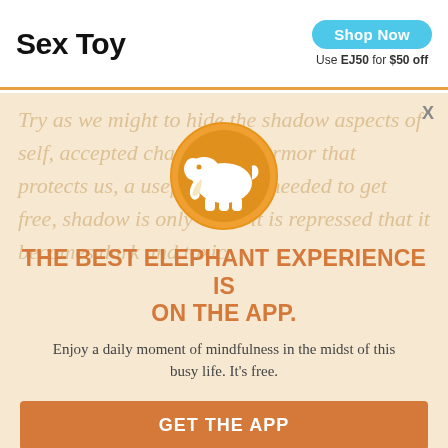Sex Toy  Shop Now  Use EJ50 for $50 off
Try as we might to hide the shadow aspects of self, accepted chains in the armor that protects us, a useful tool for needed to get free, shadow is only when it is repressed that it becomes dark and toxic.
[Figure (logo): Orange circle logo with a white elephant silhouette]
THE BEST ELEPHANT EXPERIENCE IS ON THE APP.
Enjoy a daily moment of mindfulness in the midst of this busy life. It's free.
GET THE APP
OPEN IN APP